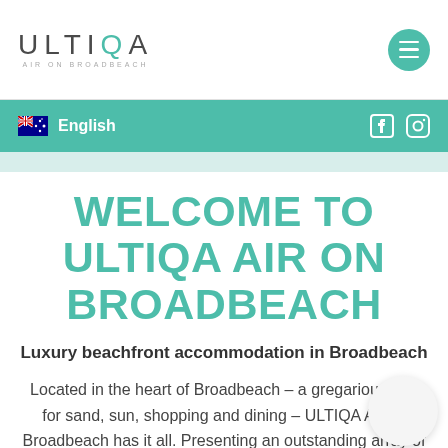[Figure (logo): ULTIQA Air on Broadbeach logo with stylized text and subtitle]
English
WELCOME TO ULTIQA AIR ON BROADBEACH
Luxury beachfront accommodation in Broadbeach
Located in the heart of Broadbeach – a gregarious hub for sand, sun, shopping and dining – ULTIQA Air on Broadbeach has it all. Presenting an outstanding array of